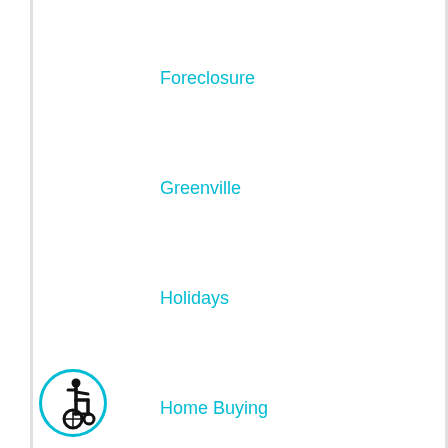Foreclosure
Greenville
Holidays
Home Buying
Home Improvement
Home Interior
Home Selling Tips
Home Showing
Home Tips and Tricks
[Figure (illustration): Accessibility icon: circular teal badge with wheelchair user symbol in black]